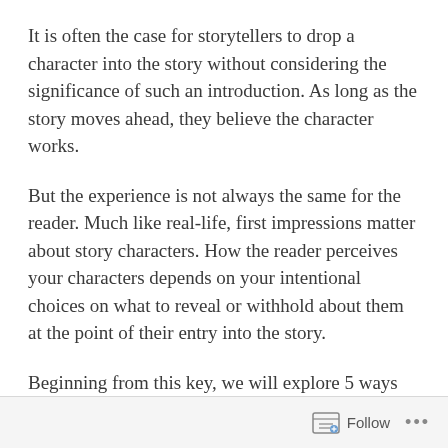It is often the case for storytellers to drop a character into the story without considering the significance of such an introduction. As long as the story moves ahead, they believe the character works.
But the experience is not always the same for the reader. Much like real-life, first impressions matter about story characters. How the reader perceives your characters depends on your intentional choices on what to reveal or withhold about them at the point of their entry into the story.
Beginning from this key, we will explore 5 ways you can employ to effectively introduce a character.
Follow ...